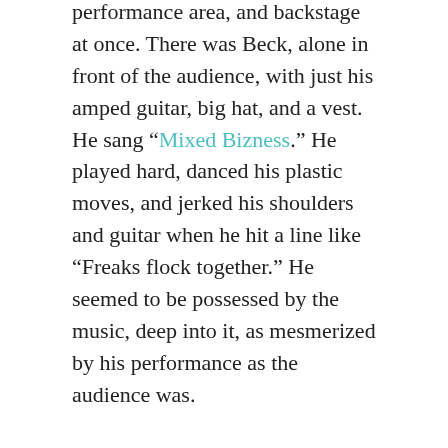performance area, and backstage at once. There was Beck, alone in front of the audience, with just his amped guitar, big hat, and a vest. He sang “Mixed Bizness.” He played hard, danced his plastic moves, and jerked his shoulders and guitar when he hit a line like “Freaks flock together.” He seemed to be possessed by the music, deep into it, as mesmerized by his performance as the audience was.
Beck finished the song and the audience clapped hard, that instant boom. I felt the bass of it in my sternum. I imagined the performer feeling the same big push, and holding himself steady against it.
I witnessed it all, yet remained invisible. Beck swung the guitar up and over his head to get the strap off his shoulder and back, and he held it down to his right side